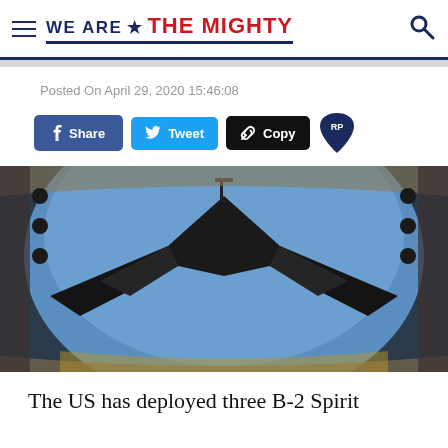WE ARE ★ THE MIGHTY
Posted On April 29, 2020 15:46:08
[Figure (screenshot): Social sharing buttons: Share (Facebook, blue), Tweet (Twitter, light blue), Copy (link, black), and RP badge (dark blue map pin icon)]
[Figure (photo): Aerial view of a B-2 Spirit stealth bomber photographed from above during aerial refueling, with the aircraft's distinctive flying wing shape visible against a blue sky, viewed through the fuel port opening of a tanker aircraft.]
The US has deployed three B-2 Spirit